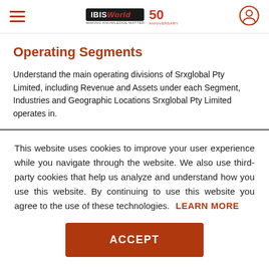IBISWorld 50th Anniversary
Operating Segments
Understand the main operating divisions of Srxglobal Pty Limited, including Revenue and Assets under each Segment, Industries and Geographic Locations Srxglobal Pty Limited operates in.
This website uses cookies to improve your user experience while you navigate through the website. We also use third-party cookies that help us analyze and understand how you use this website. By continuing to use this website you agree to the use of these technologies. LEARN MORE
ACCEPT